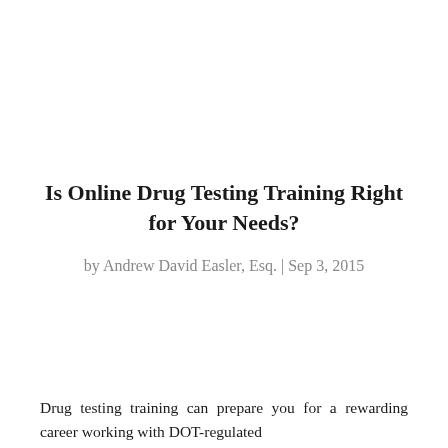Is Online Drug Testing Training Right for Your Needs?
by Andrew David Easler, Esq. | Sep 3, 2015
Drug testing training can prepare you for a rewarding career working with DOT-regulated